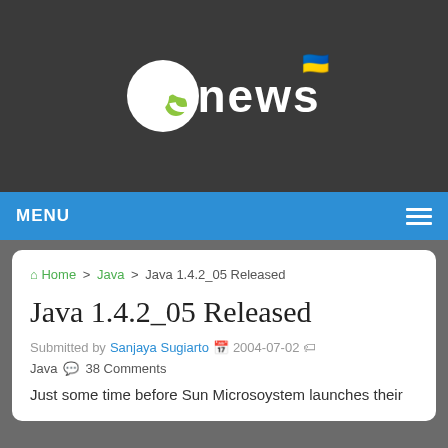[Figure (logo): OSnews logo with circular OS emblem and 'news' text, Ukrainian flag emoji in top right]
MENU
Home > Java > Java 1.4.2_05 Released
Java 1.4.2_05 Released
Submitted by Sanjaya Sugiarto  2004-07-02  Java  38 Comments
Just some time before Sun Microsoystem launches their